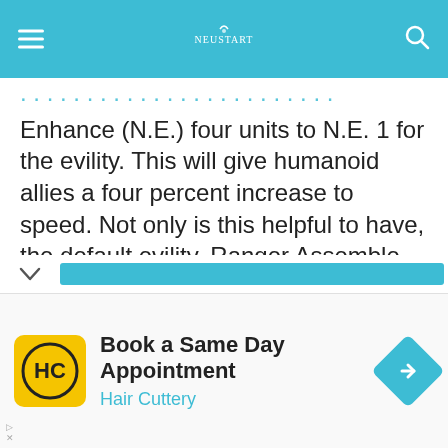[site header with navigation and logo]
Enhance (N.E.) four units to N.E. 1 for the evility. This will give humanoid allies a four percent increase to speed. Not only is this helpful to have, the default evility, Ranger Assemble, increases stats by the the number of humanoid in party times 1 percent in all metrics besides speed. But, surprisingly, the real benefit to Prism Blue is Friend Power!, a skill that buffs everyone in the party's attack by 25 to 40 percent. And, surprisingly, said perk stacks, meaning a strong team can quickly overpower and overwhelm a wide array of content.
[Figure (screenshot): Advertisement for Hair Cuttery with book a same day appointment text]